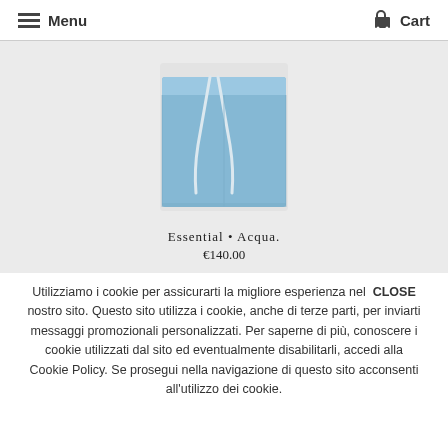Menu   Cart
[Figure (photo): Light blue swim shorts with white drawstring tie, product photo on grey background]
Essential • Acqua.
€140.00
Utilizziamo i cookie per assicurarti la migliore esperienza nel   CLOSE nostro sito. Questo sito utilizza i cookie, anche di terze parti, per inviarti messaggi promozionali personalizzati. Per saperne di più, conoscere i cookie utilizzati dal sito ed eventualmente disabilitarli, accedi alla Cookie Policy. Se prosegui nella navigazione di questo sito acconsenti all'utilizzo dei cookie.